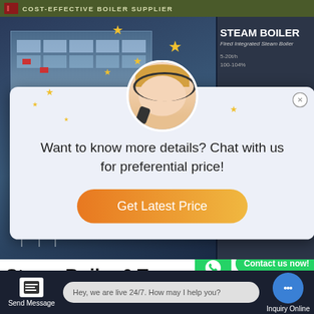COST-EFFECTIVE BOILER SUPPLIER
[Figure (screenshot): Website screenshot showing a steam boiler supplier page with a building background, stars, chat popup overlay with agent photo, and 'STEAM BOILER' heading on the right side]
Want to know more details? Chat with us for preferential price!
Get Latest Price
Steam Boiler 6 Ton Machine Price
Contact us now!
Contact us now!
Hey, we are live 24/7. How may I help you?
Send Message
Inquiry Online